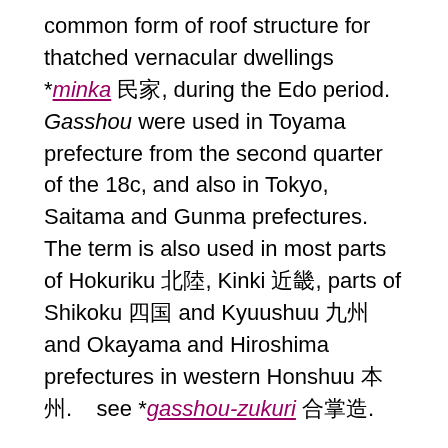common form of roof structure for thatched vernacular dwellings *minka 民家, during the Edo period. Gasshou were used in Toyama prefecture from the second quarter of the 18c, and also in Tokyo, Saitama and Gunma prefectures. The term is also used in most parts of Hokuriku 北陸, Kinki 近畿, parts of Shikoku 四国 and Kyuushuu 九州 and Okayama and Hiroshima prefectures in western Honshuu 本州.    see *gasshou-zukuri 合掌造.
2   Lit. handclasp (Sk: anjali). A mudra or hand gesture *in 印 formed by bringing together the palms of both hands, fingers extended, held level with the chest. In India this was the traditional manner of showing respect to elders, and it came to be used by Buddhists for worshipping Buddhas and Bodhisattvas. In Buddhist iconography this mudra appeared frequently with various bodhisattvas